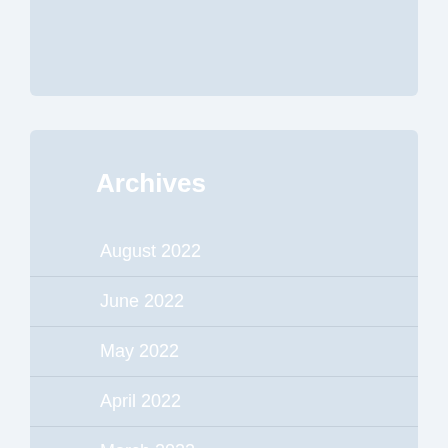[Figure (other): Light blue-grey decorative top panel/banner area]
Archives
August 2022
June 2022
May 2022
April 2022
March 2022
February 2022